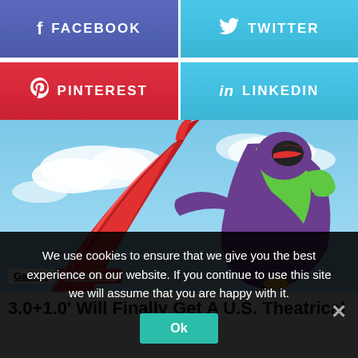[Figure (infographic): Facebook share button - blue/purple gradient with f icon and FACEBOOK text]
[Figure (infographic): Twitter share button - light blue gradient with bird icon and TWITTER text]
[Figure (infographic): Pinterest share button - red gradient with P icon and PINTEREST text]
[Figure (infographic): LinkedIn share button - light blue gradient with in icon and LINKEDIN text]
[Figure (illustration): Anime screenshot showing a purple and green mech/robot character holding a red lance against a blue sky with clouds - from Evangelion]
Games  Innovation
3.0+1.0' Will Finally Get A U.S. Theatrical
We use cookies to ensure that we give you the best experience on our website. If you continue to use this site we will assume that you are happy with it.
Ok